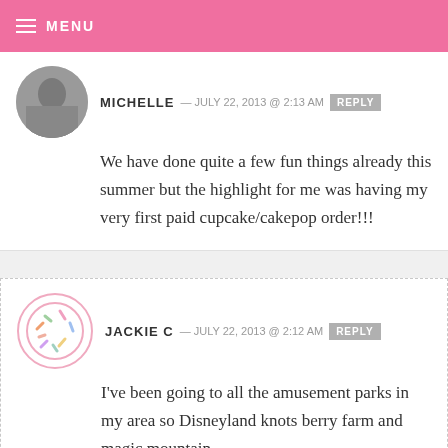MENU
MICHELLE — JULY 22, 2013 @ 2:13 AM REPLY
We have done quite a few fun things already this summer but the highlight for me was having my very first paid cupcake/cakepop order!!!
JACKIE C — JULY 22, 2013 @ 2:12 AM REPLY
I've been going to all the amusement parks in my area so Disneyland knots berry farm and magic mountain